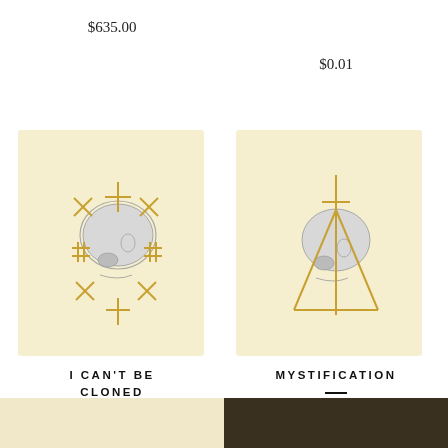$635.00
$0.01
[Figure (illustration): Skull illustration with golden cross and X symbols on cream background — I Can't Be Cloned artwork]
I CAN'T BE CLONED
$290.00
[Figure (illustration): Skull illustration with golden cross and triangle on cream background — Mystification artwork]
MYSTIFICATION
$290.00